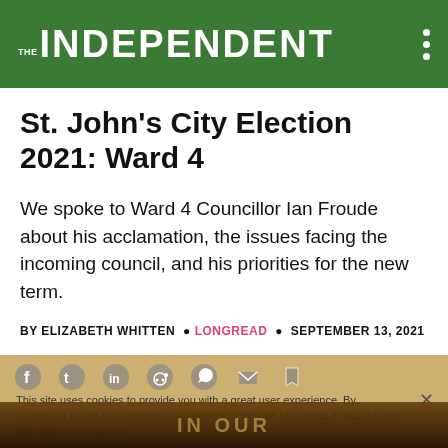THE INDEPENDENT
St. John's City Election 2021: Ward 4
We spoke to Ward 4 Councillor Ian Froude about his acclamation, the issues facing the incoming council, and his priorities for the new term.
BY ELIZABETH WHITTEN • LONGREAD • SEPTEMBER 13, 2021
This site uses cookies to provide you with a great user experience. By continuing to use this website, you consent to the use of cookies in accordance with our privacy policy.